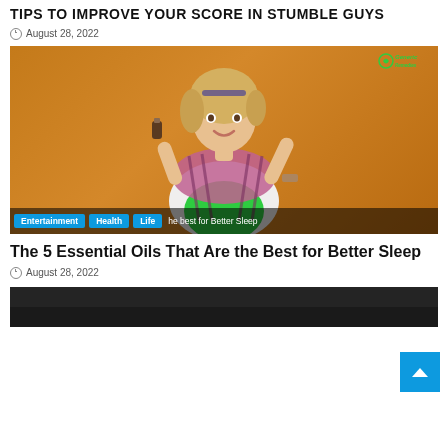TIPS TO IMPROVE YOUR SCORE IN STUMBLE GUYS
August 28, 2022
[Figure (photo): Woman with blonde hair holding a small bottle, wearing a pink/purple plaid scarf and white top against an orange background. Generic Remedies logo in top right corner. Category tags Entertainment, Health, Life overlaid at bottom with text 'he best for Better Sleep'.]
The 5 Essential Oils That Are the Best for Better Sleep
August 28, 2022
[Figure (photo): Dark/black background image, partially visible at bottom of page.]